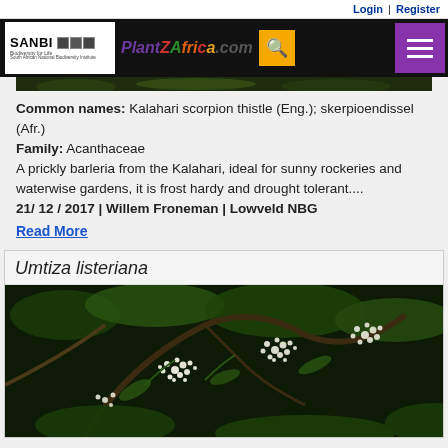Login | Register
[Figure (photo): PlantZAfrica website header with SANBI logo, PlantZAfrica.com logo, search button, and menu button on black background]
[Figure (photo): Partial plant photo strip at top of content area (dark foliage)]
Common names: Kalahari scorpion thistle (Eng.); skerpioendisse (Afr.)
Family: Acanthaceae
A prickly barleria from the Kalahari, ideal for sunny rockeries and waterwise gardens, it is frost hardy and drought tolerant....
21/ 12 / 2017 | Willem Froneman | Lowveld NBG
Read More
Umtiza listeriana
[Figure (photo): Close-up photograph of Umtiza listeriana showing white clustered flowers with green feathery leaves and dark brown branches]